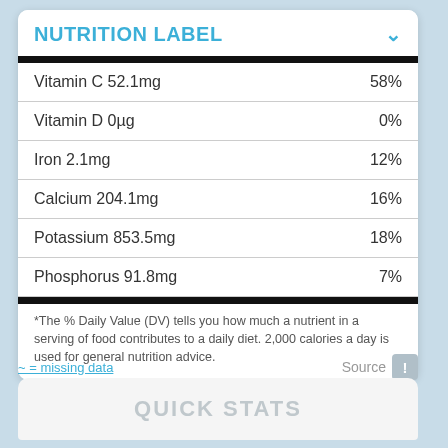NUTRITION LABEL
| Nutrient | %DV |
| --- | --- |
| Vitamin C 52.1mg | 58% |
| Vitamin D 0µg | 0% |
| Iron 2.1mg | 12% |
| Calcium 204.1mg | 16% |
| Potassium 853.5mg | 18% |
| Phosphorus 91.8mg | 7% |
*The % Daily Value (DV) tells you how much a nutrient in a serving of food contributes to a daily diet. 2,000 calories a day is used for general nutrition advice.
~ = missing data
Source
QUICK STATS